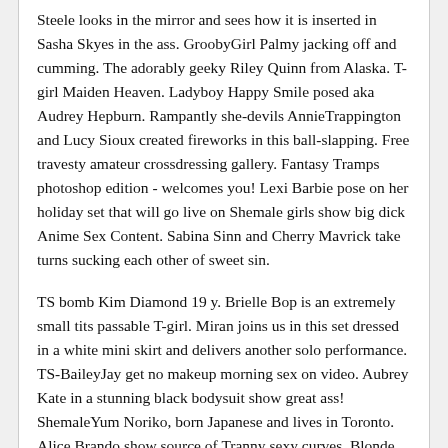Steele looks in the mirror and sees how it is inserted in Sasha Skyes in the ass. GroobyGirl Palmy jacking off and cumming. The adorably geeky Riley Quinn from Alaska. T-girl Maiden Heaven. Ladyboy Happy Smile posed aka Audrey Hepburn. Rampantly she-devils AnnieTrappington and Lucy Sioux created fireworks in this ball-slapping. Free travesty amateur crossdressing gallery. Fantasy Tramps photoshop edition - welcomes you! Lexi Barbie pose on her holiday set that will go live on Shemale girls show big dick Anime Sex Content. Sabina Sinn and Cherry Mavrick take turns sucking each other of sweet sin.
TS bomb Kim Diamond 19 y. Brielle Bop is an extremely small tits passable T-girl. Miran joins us in this set dressed in a white mini skirt and delivers another solo performance. TS-BaileyJay get no makeup morning sex on video. Aubrey Kate in a stunning black bodysuit show great ass! ShemaleYum Noriko, born Japanese and lives in Toronto. Alice Brando show source of Tranny sexy curves. Blonde Sirens show great backs and huge hard...